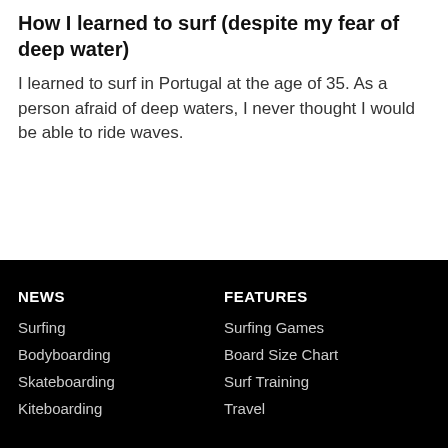How I learned to surf (despite my fear of deep water)
I learned to surf in Portugal at the age of 35. As a person afraid of deep waters, I never thought I would be able to ride waves.
NEWS | Surfing, Bodyboarding, Skateboarding, Kiteboarding | FEATURES | Surfing Games, Board Size Chart, Surf Training, Travel